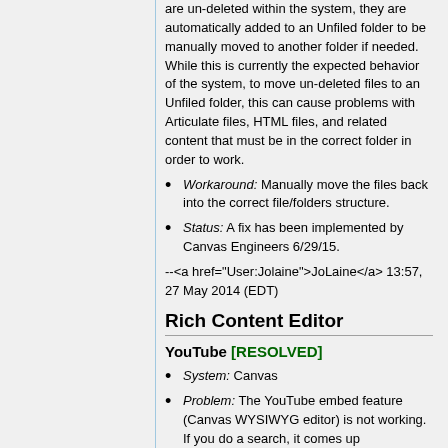are un-deleted within the system, they are automatically added to an Unfiled folder to be manually moved to another folder if needed. While this is currently the expected behavior of the system, to move un-deleted files to an Unfiled folder, this can cause problems with Articulate files, HTML files, and related content that must be in the correct folder in order to work.
Workaround: Manually move the files back into the correct file/folders structure.
Status: A fix has been implemented by Canvas Engineers 6/29/15.
--<a href="User:Jolaine">JoLaine</a> 13:57, 27 May 2014 (EDT)
Rich Content Editor
YouTube [RESOLVED]
System: Canvas
Problem: The YouTube embed feature (Canvas WYSIWYG editor) is not working. If you do a search, it comes up...